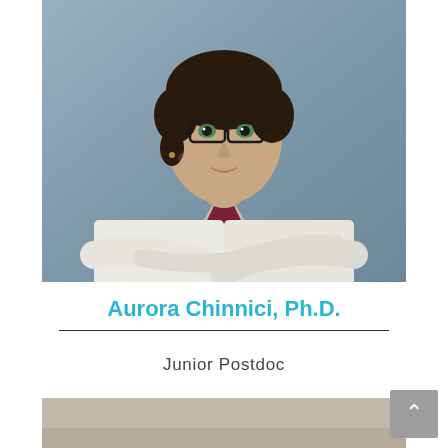[Figure (photo): Professional headshot of Aurora Chinnici, Ph.D., a woman wearing glasses and a white lab coat with a medical institution logo, arms crossed, against a gray background]
Aurora Chinnici, Ph.D.
Junior Postdoc
[Figure (photo): Partial view of a second image below, showing a beige/tan background, cropped at page bottom]